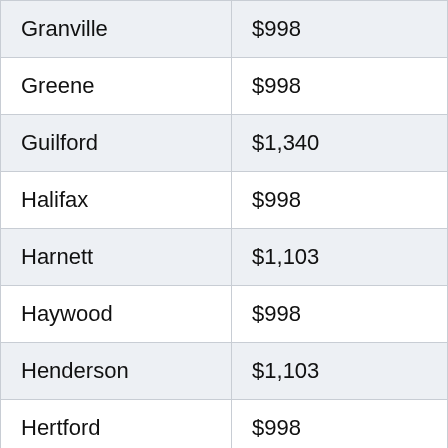| Granville | $998 |
| Greene | $998 |
| Guilford | $1,340 |
| Halifax | $998 |
| Harnett | $1,103 |
| Haywood | $998 |
| Henderson | $1,103 |
| Hertford | $998 |